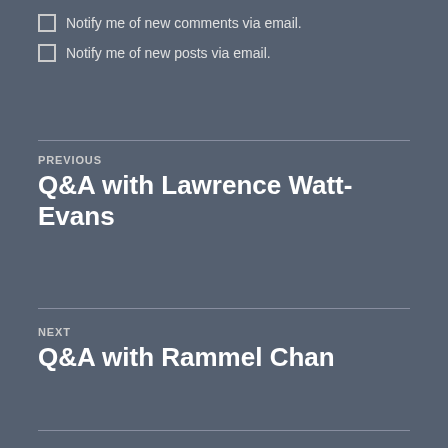Notify me of new comments via email.
Notify me of new posts via email.
PREVIOUS
Q&A with Lawrence Watt-Evans
NEXT
Q&A with Rammel Chan